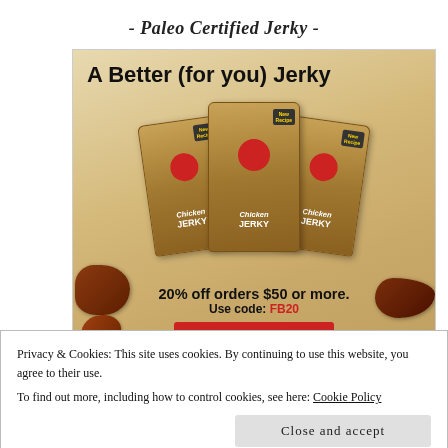- Paleo Certified Jerky -
[Figure (photo): Advertisement for Cave Man Chicken Jerky showing three product packages on a wooden background with jerky pieces. Text reads 'A Better (for you) Jerky', '20% off orders $50 or more.', 'Use code: FB20', and a 'SHOP NOW!' button.]
Privacy & Cookies: This site uses cookies. By continuing to use this website, you agree to their use.
To find out more, including how to control cookies, see here: Cookie Policy
Close and accept
Keep your